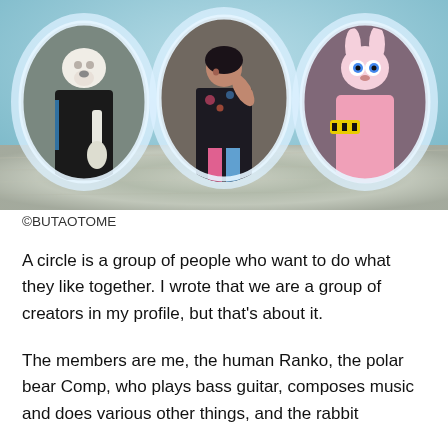[Figure (photo): A promotional photo of three characters in circular frames against a silver foil background: left is a polar bear mascot in black outfit holding a guitar, center is a woman (Ranko) in a dark floral outfit, right is a pink rabbit mascot holding something with yellow and black stripes.]
©BUTAOTOME
A circle is a group of people who want to do what they like together. I wrote that we are a group of creators in my profile, but that's about it.
The members are me, the human Ranko, the polar bear Comp, who plays bass guitar, composes music and does various other things, and the rabbit Poppy. As a rule, illustrations are done by